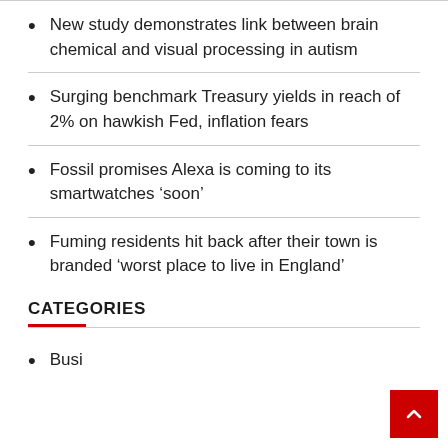New study demonstrates link between brain chemical and visual processing in autism
Surging benchmark Treasury yields in reach of 2% on hawkish Fed, inflation fears
Fossil promises Alexa is coming to its smartwatches ‘soon’
Fuming residents hit back after their town is branded ‘worst place to live in England’
CATEGORIES
Busi...